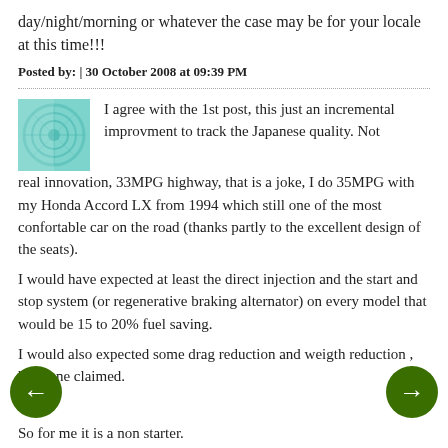day/night/morning or whatever the case may be for your locale at this time!!!
Posted by: | 30 October 2008 at 09:39 PM
I agree with the 1st post, this just an incremental improvment to track the Japanese quality. Not real innovation, 33MPG highway, that is a joke, I do 35MPG with my Honda Accord LX from 1994 which still one of the most confortable car on the road (thanks partly to the excellent design of the seats).
I would have expected at least the direct injection and the start and stop system (or regenerative braking alternator) on every model that would be 15 to 20% fuel saving.
I would also expected some drag reduction and weigth reduction , but none claimed.
So for me it is a non starter.